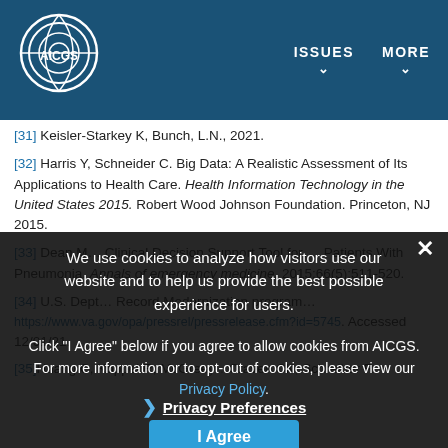AICGS — ISSUES | MORE
[31] Keisler-Starkey K, Bunch, L.N., 2021.
[32] Harris Y, Schneider C. Big Data: A Realistic Assessment of Its Applications to Health Care. Health Information Technology in the United States 2015. Robert Wood Johnson Foundation. Princeton, NJ 2015.
[33] Dean J… Clinical Decision Support Tool for… Patients With Pneumonia. Annals of emergency medicine. 2015;66(5):511-520.
[34] U.S. Dept… Record Modernization program… https://www.va.gov/opa/pressrel/pressrelease.cfm?id=5745. Accessed 12/01/21.
[35] Huang C, Koppel R, McGree…Craven CK, Schreiber R
We use cookies to analyze how visitors use our website and to help us provide the best possible experience for users.

Click "I Agree" below if you agree to allow cookies from AICGS. For more information or to opt-out of cookies, please view our Privacy Policy.

❯ Privacy Preferences

I Agree